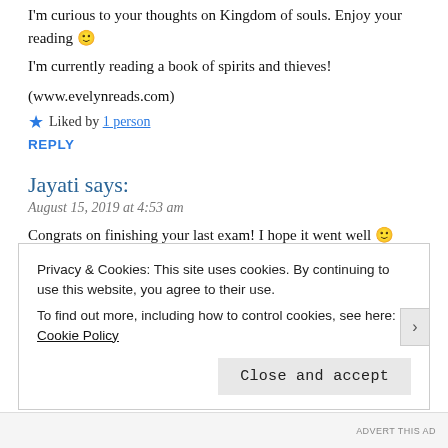I'm curious to your thoughts on Kingdom of souls. Enjoy your reading 🙂
I'm currently reading a book of spirits and thieves!
(www.evelynreads.com)
★ Liked by 1 person
REPLY
Jayati says:
August 15, 2019 at 4:53 am
Congrats on finishing your last exam! I hope it went well 🙂
I reallly love the cover for The Grace Year and I also really want to
Privacy & Cookies: This site uses cookies. By continuing to use this website, you agree to their use. To find out more, including how to control cookies, see here: Cookie Policy
Close and accept